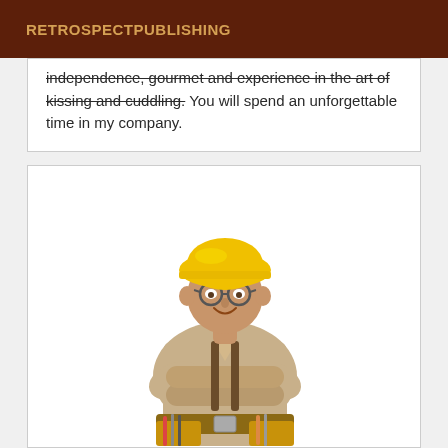RETROSPECTPUBLISHING
independence, gourmet and experience in the art of kissing and cuddling. You will spend an unforgettable time in my company.
[Figure (photo): A construction worker or handyman wearing a yellow hard hat, glasses, and a beige work shirt with arms crossed, wearing a tool belt with tools, photographed against a white background.]